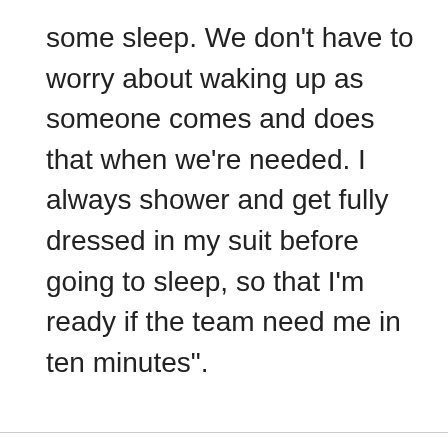some sleep. We don't have to worry about waking up as someone comes and does that when we're needed. I always shower and get fully dressed in my suit before going to sleep, so that I'm ready if the team need me in ten minutes".
Advertisement - Article continues below